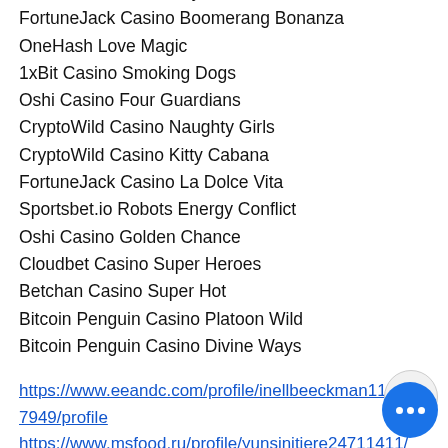BitcoinCasino.us Valley of Pharaohs
FortuneJack Casino Boomerang Bonanza
OneHash Love Magic
1xBit Casino Smoking Dogs
Oshi Casino Four Guardians
CryptoWild Casino Naughty Girls
CryptoWild Casino Kitty Cabana
FortuneJack Casino La Dolce Vita
Sportsbet.io Robots Energy Conflict
Oshi Casino Golden Chance
Cloudbet Casino Super Heroes
Betchan Casino Super Hot
Bitcoin Penguin Casino Platoon Wild
Bitcoin Penguin Casino Divine Ways
https://www.eeandc.com/profile/inellbeeckman11297949/profile
https://www.msfood.ru/profile/yunsinitiere24711411/profile
https://www.thehairgym.com/profile/ladykuchenbecker18605364/profile